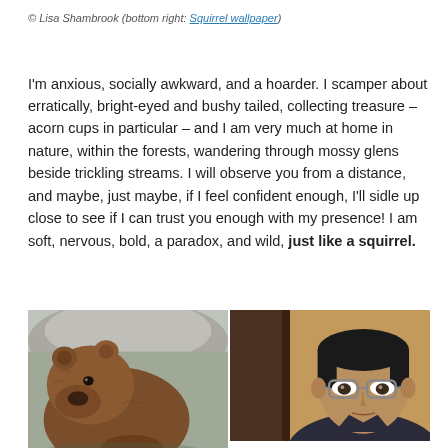© Lisa Shambrook (bottom right: Squirrel wallpaper)
I'm anxious, socially awkward, and a hoarder. I scamper about erratically, bright-eyed and bushy tailed, collecting treasure – acorn cups in particular – and I am very much at home in nature, within the forests, wandering through mossy glens beside trickling streams. I will observe you from a distance, and maybe, just maybe, if I feel confident enough, I'll sidle up close to see if I can trust you enough with my presence! I am soft, nervous, bold, a paradox, and wild, just like a squirrel.
[Figure (photo): Two side-by-side photos: left shows a brown bear, right shows a man with glasses]
[Figure (photo): Photo of a man with glasses]